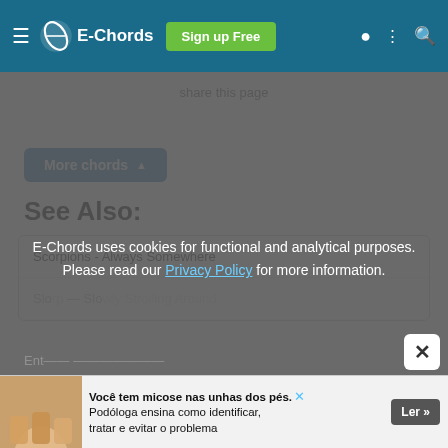E-Chords  Sign up Free
share this page
More chords ▲
See Also:
Scorpions - Always Somewhere
E-Chords uses cookies for functional and analytical purposes. Please read our Privacy Policy for more information.
Você tem micose nas unhas dos pés? Podóloga ensina como identificar, tratar e evitar o problema  Ler >>